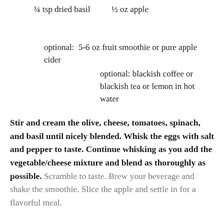¼ tsp dried basil        ½ oz apple
optional:  5-6 oz fruit smoothie or pure apple cider
optional: blackish coffee or blackish tea or lemon in hot water
Stir and cream the olive, cheese, tomatoes, spinach, and basil until nicely blended. Whisk the eggs with salt and pepper to taste. Continue whisking as you add the vegetable/cheese mixture and blend as thoroughly as possible. Scramble to taste. Brew your beverage and shake the smoothie. Slice the apple and settle in for a flavorful meal.